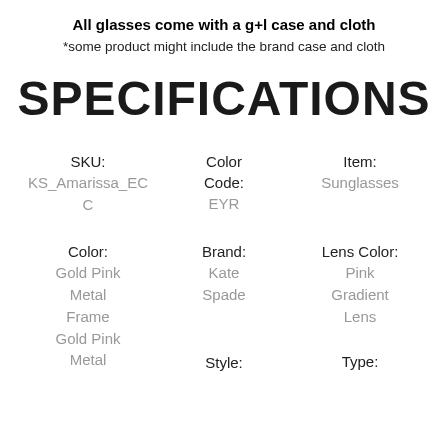All glasses come with a g+l case and cloth
*some product might include the brand case and cloth
SPECIFICATIONS
| SKU: | Color Code: | Item: |
| --- | --- | --- |
| KS_Amarissa_EC | EYR | Sunglasses |
| C |  |  |
| Color: | Brand: | Lens Color: |
| --- | --- | --- |
| Gold Pink | Kate | Pink |
| Metal | Spade | Gradient |
| Frame |  | Lens |
| Gold Pink |  |  |
| Metal | Style: | Type: |